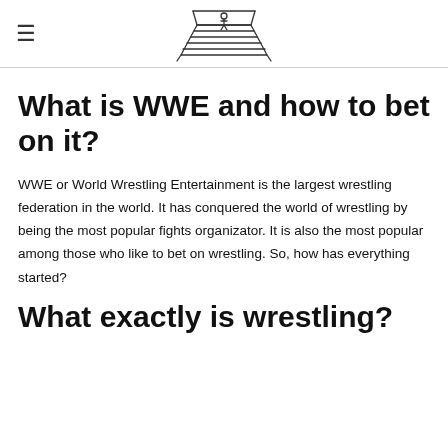Wrestling betting site header with logo illustration of a wrestling ring
What is WWE and how to bet on it?
WWE or World Wrestling Entertainment is the largest wrestling federation in the world. It has conquered the world of wrestling by being the most popular fights organizator. It is also the most popular among those who like to bet on wrestling. So, how has everything started?
What exactly is wrestling?